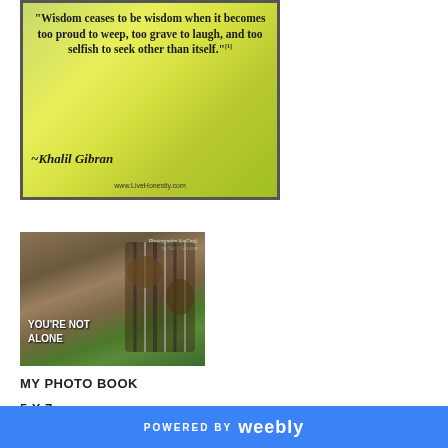[Figure (photo): Quote image with yellow-green bokeh background. Text reads: 'Wisdom ceases to be wisdom when it becomes too proud to weep, too grave to laugh, and too selfish to seek other than itself.' ~Khalil Gibran. Website: www.LiveHonestly.com]
[Figure (photo): Photo of two chipmunks appearing to kiss/touch noses, with text 'YOU'RE NOT ALONE' overlaid. Photo credit text in upper right corner.]
MY PHOTO BOOK
5 X 7
POWERED BY weebly